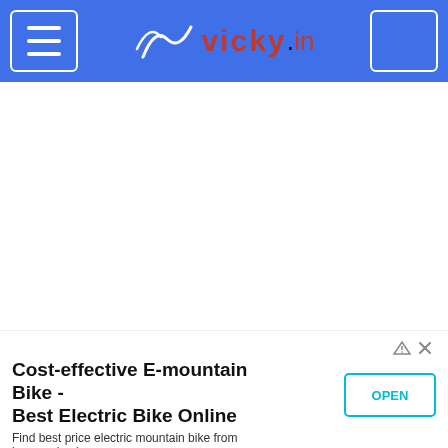vicky.in navigation bar with hamburger menu and search box
[Figure (screenshot): White content area (blank/loading)]
[Figure (screenshot): Blue advertisement card for Epic Motor Co / Epic Motor Company - Help You Find a Used Car That]
Epic Motor Co
Epic Motor Company
Help You Find a Used Car That
[Figure (screenshot): Bottom advertisement banner: Cost-effective E-mountain Bike - Best Electric Bike Online. Find best price electric mountain bike from here and enjoy. OPEN button.]